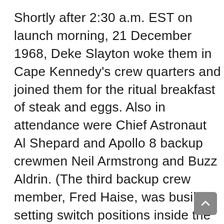Shortly after 2:30 a.m. EST on launch morning, 21 December 1968, Deke Slayton woke them in Cape Kennedy's crew quarters and joined them for the ritual breakfast of steak and eggs. Also in attendance were Chief Astronaut Al Shepard and Apollo 8 backup crewmen Neil Armstrong and Buzz Aldrin. (The third backup crew member, Fred Haise, was busily setting switch positions inside the command module at Pad 39A.) Shortly thereafter, clad in their snow-white spacesuits and bubble helmets, they arrived at the brilliantly floodlit pad, where their Saturn V awaited. First Borman, then Anders, and finally Lovell took their seats in the command module, joining Haise, who had by now finished his job of checking switches. After